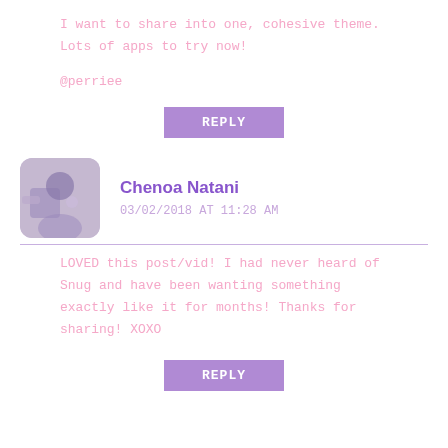I want to share into one, cohesive theme. Lots of apps to try now!
@perriee
REPLY
Chenoa Natani
03/02/2018 AT 11:28 AM
LOVED this post/vid! I had never heard of Snug and have been wanting something exactly like it for months! Thanks for sharing! XOXO
REPLY